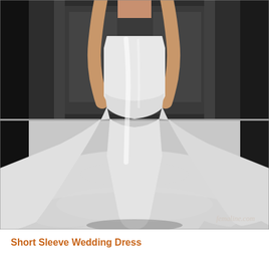[Figure (photo): A model wearing a simple, elegant white sleeveless mermaid/sheath wedding dress with a long train, photographed from behind on a runway. The dress is minimalist with clean lines. The background shows a bright runway floor and dark walls. A watermark 'femaline.com' appears in the lower right corner of the photo.]
Short Sleeve Wedding Dress